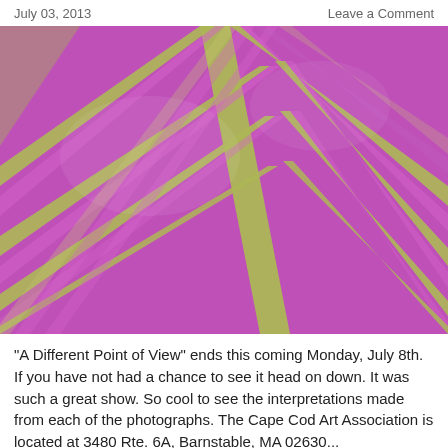July 03, 2013   Leave a Comment
[Figure (photo): Close-up macro photograph of a tropical plant leaf showing vivid pink/magenta and yellow-green striped veins fanning out in a herringbone pattern.]
"A Different Point of View" ends this coming Monday, July 8th. If you have not had a chance to see it head on down. It was such a great show. So cool to see the interpretations made from each of the photographs. The Cape Cod Art Association is located at 3480 Rte. 6A, Barnstable, MA 02630...